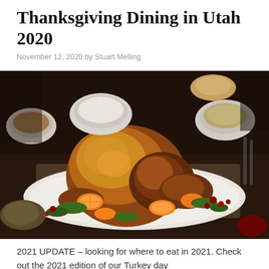Thanksgiving Dining in Utah 2020
November 12, 2020 by Stuart Melling
[Figure (photo): A roasted Thanksgiving turkey on a white platter garnished with orange slices, fresh herbs, and cranberries, surrounded by side dishes including rice, gravy, and stuffing on a rustic table with burlap.]
2021 UPDATE – looking for where to eat in 2021. Check out the 2021 edition of our Turkey day